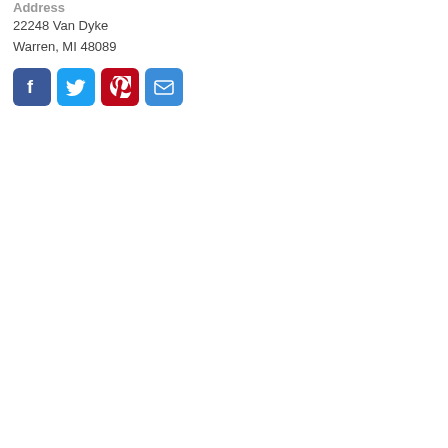Address
22248 Van Dyke
Warren, MI 48089
[Figure (infographic): Four social media/share icon buttons: Facebook (blue), Twitter (light blue), Pinterest (red), Email (blue)]